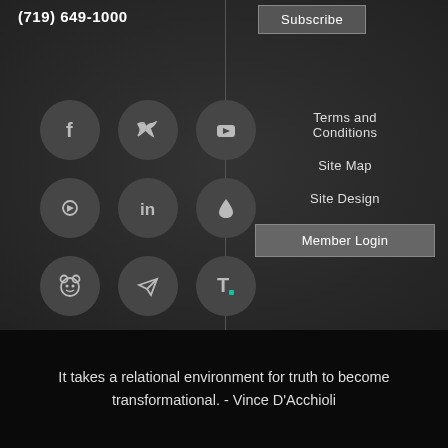(719) 649-1000
Subscribe
[Figure (illustration): Grid of 9 social media icons in dark circular buttons: Facebook, Twitter, YouTube (row 1); Odysee/play, LinkedIn, Droplet/water (row 2); Bear/Snapchat, Telegram, TapeReal/T logo (row 3)]
Terms and Conditions
Site Map
Site Design
Member Login
It takes a relational environment for truth to become transformational.  -  Vince D'Acchioli